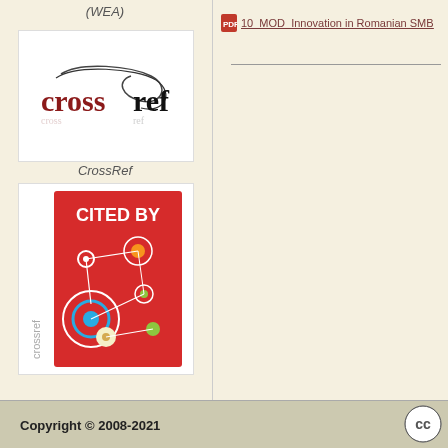(WEA)
[Figure (logo): CrossRef logo — 'cross' in dark red serif and 'ref' in black with a looping line over the text, white background box]
CrossRef
[Figure (logo): Crossref Cited-By badge — red square with white 'CITED BY' text and network circle graphics in orange, green, blue, white; 'crossref' in grey vertical text on left side]
10_MOD_Innovation in Romanian SMB
Copyright © 2008-2021